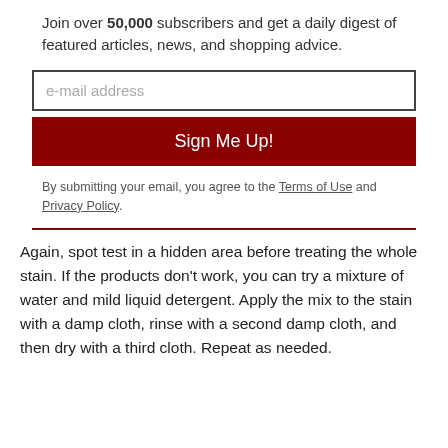Join over 50,000 subscribers and get a daily digest of featured articles, news, and shopping advice.
e-mail address
Sign Me Up!
By submitting your email, you agree to the Terms of Use and Privacy Policy.
Again, spot test in a hidden area before treating the whole stain. If the products don't work, you can try a mixture of water and mild liquid detergent. Apply the mix to the stain with a damp cloth, rinse with a second damp cloth, and then dry with a third cloth. Repeat as needed.